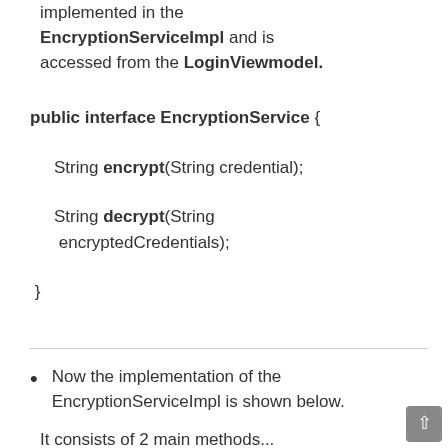implemented in the EncryptionServiceImpl and is accessed from the LoginViewmodel.
public interface EncryptionService {

    String encrypt(String credential);

    String decrypt(String encryptedCredentials);

}
Now the implementation of the EncryptionServiceImpl is shown below.
It consists of 2 main methods...